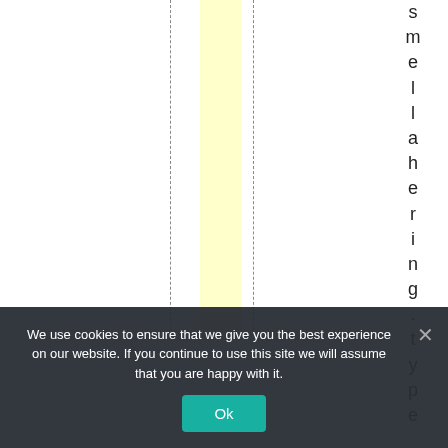[Figure (other): A table or chart fragment showing a yellow highlighted column with dashed border lines and vertical text reading 'smellahering.type' on the right side]
We use cookies to ensure that we give you the best experience on our website. If you continue to use this site we will assume that you are happy with it.
Ok